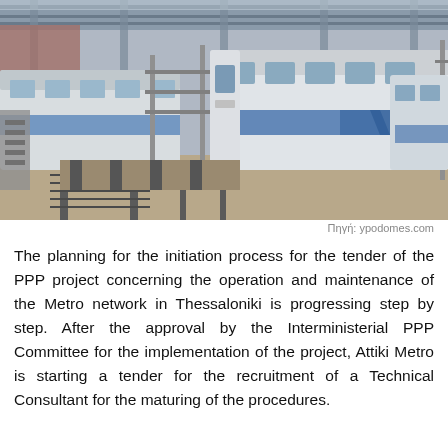[Figure (photo): Interior of a metro train depot showing multiple metro trains parked on tracks. The trains are white and blue. Steel scaffolding structures and support columns are visible throughout the large industrial hall with a metal roof.]
Πηγή: ypodomes.com
The planning for the initiation process for the tender of the PPP project concerning the operation and maintenance of the Metro network in Thessaloniki is progressing step by step. After the approval by the Interministerial PPP Committee for the implementation of the project, Attiki Metro is starting a tender for the recruitment of a Technical Consultant for the maturing of the procedures.